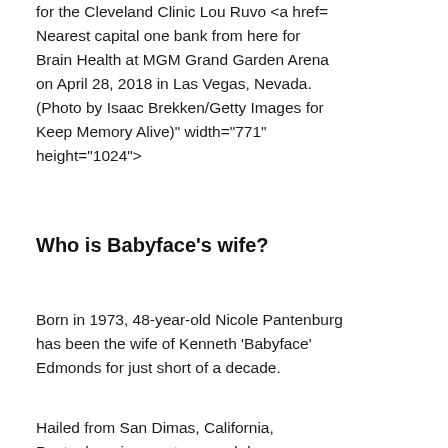for the Cleveland Clinic Lou Ruvo <a href= Nearest capital one bank from here for Brain Health at MGM Grand Garden Arena on April 28, 2018 in Las Vegas, Nevada. (Photo by Isaac Brekken/Getty Images for Keep Memory Alive)" width="771" height="1024">
Who is Babyface's wife?
Born in 1973, 48-year-old Nicole Pantenburg has been the wife of Kenneth 'Babyface' Edmonds for just short of a decade.
Hailed from San Dimas, California, Pantenburg is an actress and dancer...